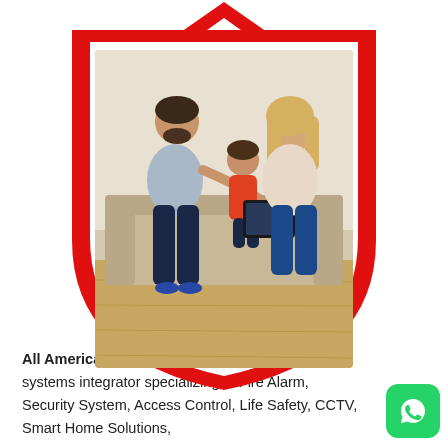[Figure (illustration): A shield-shaped graphic with a thick red border and white interior, containing a photo of a family (man, young girl, and woman) sitting on a couch looking at a tablet device together. The shield has a pointed bottom and flat top with two red chevron/arrow shapes at the top.]
All American Alarm Systems is a full service systems integrator specializing in Fire Alarm, Security Systems, Access Control, Life Safety, CCTV, Smart Home Solutions,